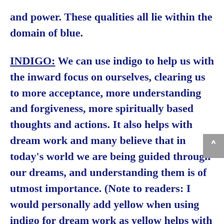and power. These qualities all lie within the domain of blue.
INDIGO: We can use indigo to help us with the inward focus on ourselves, clearing us to more acceptance, more understanding and forgiveness, more spiritually based thoughts and actions. It also helps with dream work and many believe that in today's world we are being guided through our dreams, and understanding them is of utmost importance. (Note to readers: I would personally add yellow when using indigo for dream work as yellow helps with both clarity and